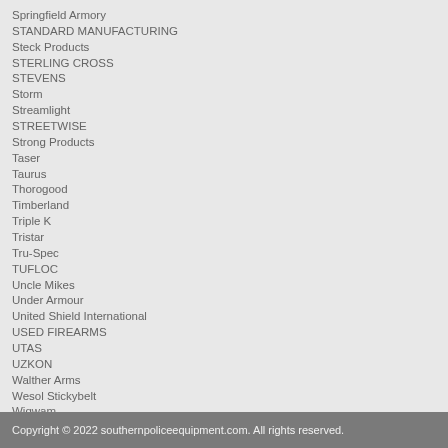Springfield Armory
STANDARD MANUFACTURING
Steck Products
STERLING CROSS
STEVENS
Storm
Streamlight
STREETWISE
Strong Products
Taser
Taurus
Thorogood
Timberland
Triple K
Tristar
Tru-Spec
TUFLOC
Uncle Mikes
Under Armour
United Shield International
USED FIREARMS
UTAS
UZKON
Walther Arms
Wesol Stickybelt
Wigwam
Wiley X
WILSON COMBAT
Windham Weaponry
Wolverine
ZABALA
ZAK
ZOLL
Copyright © 2022 southernpoliceequipment.com. All rights reserved.